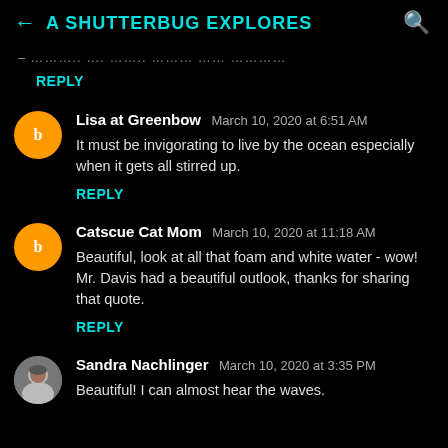A SHUTTERBUG EXPLORES
– ……….. …. …….. …….. ……. …………
REPLY
Lisa at Greenbow  March 10, 2020 at 6:51 AM
It must be invigorating to live by the ocean especially when it gets all stirred up.
REPLY
Catscue Cat Mom  March 10, 2020 at 11:18 AM
Beautiful, look at all that foam and white water - wow! Mr. Davis had a beautiful outlook, thanks for sharing that quote.
REPLY
Sandra Nachlinger  March 10, 2020 at 3:35 PM
Beautiful! I can almost hear the waves.